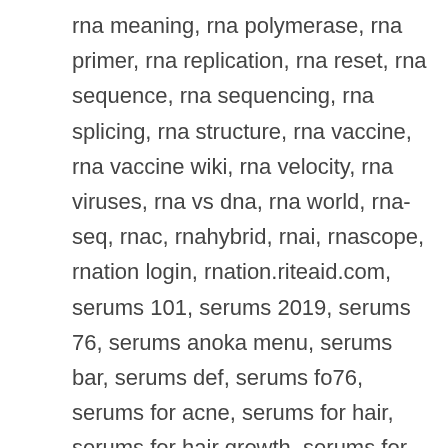rna meaning, rna polymerase, rna primer, rna replication, rna reset, rna sequence, rna sequencing, rna splicing, rna structure, rna vaccine, rna vaccine wiki, rna velocity, rna viruses, rna vs dna, rna world, rna-seq, rnac, rnahybrid, rnai, rnascope, rnation login, rnation.riteaid.com, serums 101, serums 2019, serums 76, serums anoka menu, serums bar, serums def, serums fo76, serums for acne, serums for hair, serums for hair growth, serums for men, serums for sensitive skin, serums for wrinkles, serums in anoka, serums in anoka mn, serums mn, serums osrs, serums peru, serums ulta, serums vs creams, serums with glycerin, serums with spf, serums.com, serumstat, test